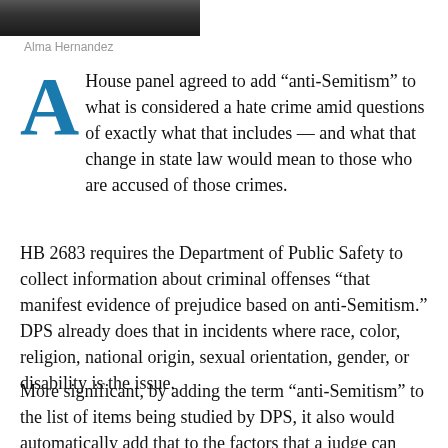[Figure (photo): Partial photograph cropped at the top of the page, showing a person, clipped.]
Alma Hernandez
A House panel agreed to add “anti-Semitism” to what is considered a hate crime amid questions of exactly what that includes — and what that change in state law would mean to those who are accused of those crimes.
HB 2683 requires the Department of Public Safety to collect information about criminal offenses “that manifest evidence of prejudice based on anti-Semitism.” DPS already does that in incidents where race, color, religion, national origin, sexual orientation, gender, or disability is the issue.
More significant, by adding the term “anti-Semitism” to the list of items being studied by DPS, it also would automatically add that to the factors that a judge can